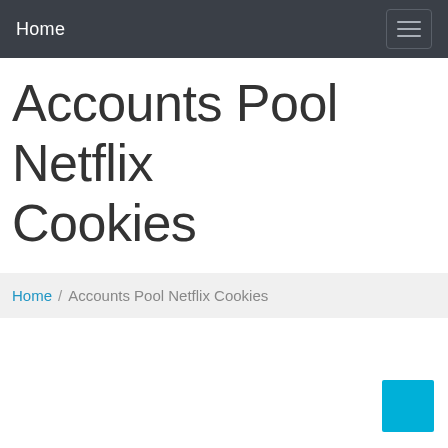Home
Accounts Pool Netflix Cookies
Home / Accounts Pool Netflix Cookies